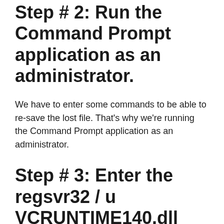Step # 2: Run the Command Prompt application as an administrator.
We have to enter some commands to be able to re-save the lost file. That's why we're running the Command Prompt application as an administrator.
Step # 3: Enter the regsvr32 / u VCRUNTIME140.dll command and press Enter.